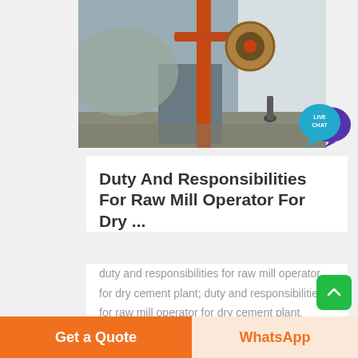[Figure (photo): Construction/mining site with orange machinery, jaw crusher or similar heavy equipment against a corrugated metal building background]
Duty And Responsibilities For Raw Mill Operator For Dry ...
duty and responsibilities for raw mill operator for dry cement plant; duty and responsibilities for raw mill operator for dry cement plant. Customer satisfaction is the core of all our service. Request a quote
[Figure (illustration): Live Chat speech bubble logo in teal/purple colors]
Get a Quote
WhatsApp